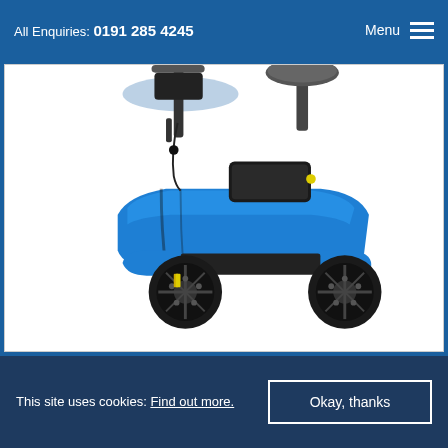All Enquiries: 0191 285 4245  Menu
[Figure (photo): A blue mobility scooter with black wheels, basket mount, and seat visible from the side, photographed on a white background. The scooter body is metallic blue with black foot platform and battery/motor housing.]
This site uses cookies: Find out more.
Okay, thanks